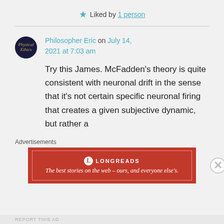★ Liked by 1 person
Philosopher Eric on July 14, 2021 at 7:03 am
Try this James. McFadden's theory is quite consistent with neuronal drift in the sense that it's not certain specific neuronal firing that creates a given subjective dynamic, but rather a
Advertisements
[Figure (other): Longreads advertisement banner: red background with Longreads logo and tagline 'The best stories on the web – ours, and everyone else's.']